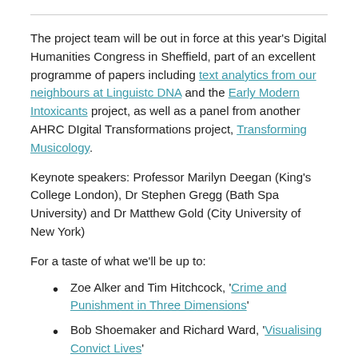The project team will be out in force at this year's Digital Humanities Congress in Sheffield, part of an excellent programme of papers including text analytics from our neighbours at Linguistc DNA and the Early Modern Intoxicants project, as well as a panel from another AHRC DIgital Transformations project, Transforming Musicology.
Keynote speakers: Professor Marilyn Deegan (King's College London), Dr Stephen Gregg (Bath Spa University) and Dr Matthew Gold (City University of New York)
For a taste of what we'll be up to:
Zoe Alker and Tim Hitchcock, 'Crime and Punishment in Three Dimensions'
Bob Shoemaker and Richard Ward, 'Visualising Convict Lives'